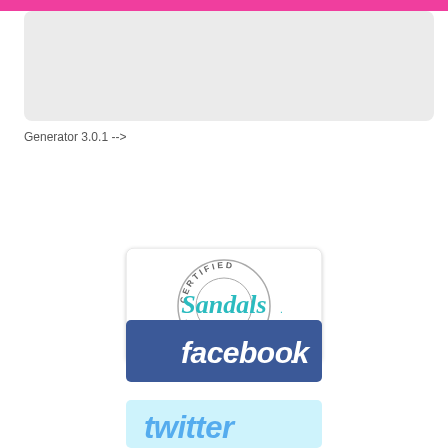[Figure (other): Pink horizontal banner bar at top of page]
[Figure (other): Light gray rounded rectangle box below pink bar]
Generator 3.0.1 -->
[Figure (logo): Certified Sandals Specialist logo — circular badge with teal Sandals script lettering and gray arc text reading CERTIFIED and SPECIALIST, white rounded-rectangle card background]
[Figure (logo): Facebook logo — blue rounded rectangle with white italic lowercase 'facebook.' wordmark]
[Figure (logo): Twitter logo — light blue rounded rectangle with light blue lowercase 'twitter' wordmark]